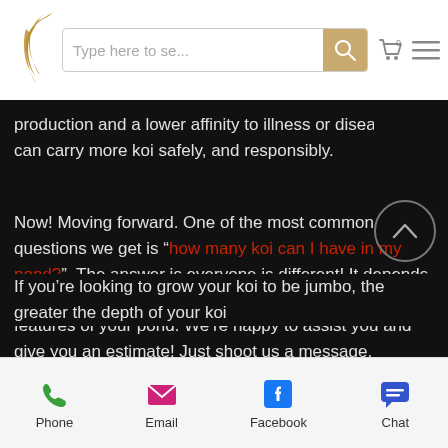[Figure (screenshot): Mobile website navigation bar with logo (golden bird), search box with placeholder 'Type here to se...', search button, cart icon, hamburger menu icon]
production and a lower affinity to illness or disease; you can carry more koi safely, and responsibly.
Now! Moving forward. One of the most common questions we get is “how many koi can I have in my pond?”. The answer is everyone is different! It depends on the level of filtration that your pond has and the features of your pond. We’re happy to assist you and give you an estimate! Just shoot us a message.
If you’re looking to grow your koi to be jumbo, the greater the depth of your koi
[Figure (screenshot): Mobile bottom navigation bar with Phone (green phone icon), Email (pink envelope icon), Facebook (blue Facebook icon), Chat (blue chat bubble icon)]